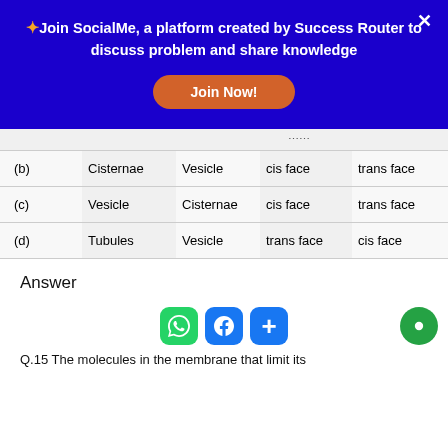✦Join SocialMe, a platform created by Success Router to discuss problem and share knowledge
Join Now!
| (b) | Cisternae | Vesicle | cis face | trans face |
| (c) | Vesicle | Cisternae | cis face | trans face |
| (d) | Tubules | Vesicle | trans face | cis face |
Answer
Q.15  The molecules in the membrane that limit its